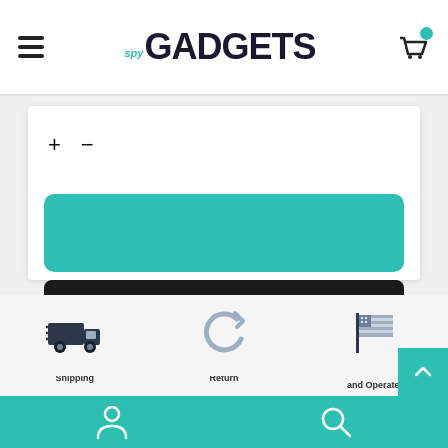spy GADGETS — navigation header with hamburger menu and cart icon
[Figure (screenshot): Teal rounded rectangle button (add to cart or similar)]
[Figure (screenshot): Black rounded rectangle button (checkout or similar)]
[Figure (infographic): Three icons row: Expedited Shipping (delivery truck), 15-day Easy Return (refresh icon), American Owned and Operated (flag icon)]
Bottom teal navigation bar with user icon and search icon